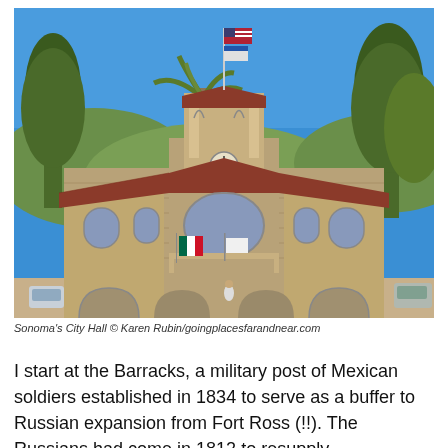[Figure (photo): Photo of Sonoma's City Hall, a stone building with a central bell tower topped by a flagpole with two flags. The building features arched windows, a clock, red-tiled roof, and flags displayed on a balcony. Trees and blue sky visible in background.]
Sonoma's City Hall © Karen Rubin/goingplacesfarandnear.com
I start at the Barracks, a military post of Mexican soldiers established in 1834 to serve as a buffer to Russian expansion from Fort Ross (!!). The Russians had come in 1812 to resupply